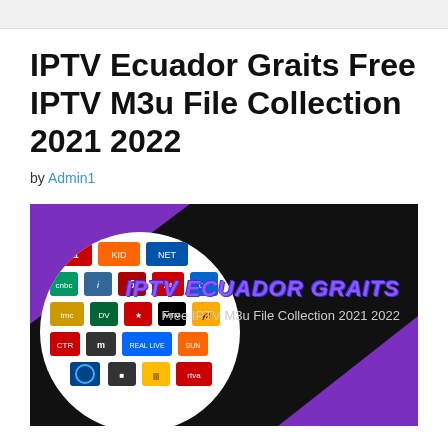IPTV Ecuador Graits Free IPTV M3u File Collection 2021 2022
by Admin1
[Figure (illustration): Promotional banner for IPTV Ecuador Graits with black background, purple triangles in corners, a circular collage of TV channel logos on the left, and purple/white text 'IPTV ECUADOR GRAITS - Free IPTV M3u File Collection 2021 2022' on the right.]